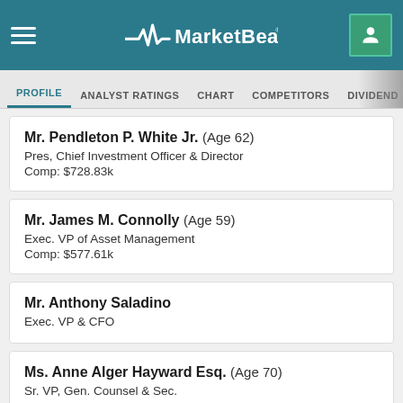MarketBeat - PROFILE | ANALYST RATINGS | CHART | COMPETITORS | DIVIDEND | EARNINGS
Mr. Pendleton P. White Jr. (Age 62)
Pres, Chief Investment Officer & Director
Comp: $728.83k
Mr. James M. Connolly (Age 59)
Exec. VP of Asset Management
Comp: $577.61k
Mr. Anthony Saladino
Exec. VP & CFO
Ms. Anne Alger Hayward Esq. (Age 70)
Sr. VP, Gen. Counsel & Sec.
Key Competitors